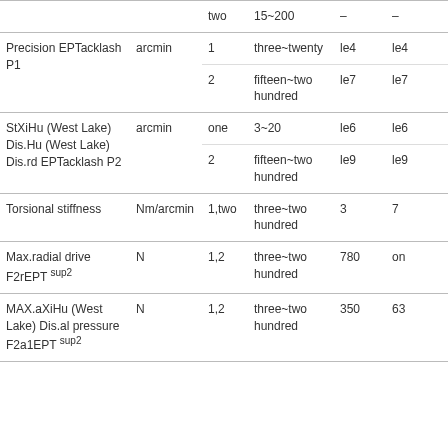|  |  |  |  |  |  |
| --- | --- | --- | --- | --- | --- |
|  |  | two | 15~200 | – | – |
| Precision EPTacklash P1 | arcmin | 1 | three~twenty | le4 | le4 |
|  |  | 2 | fifteen~two hundred | le7 | le7 |
| StXiHu (West Lake) Dis.Hu (West Lake) Dis.rd EPTacklash P2 | arcmin | one | 3~20 | le6 | le6 |
|  |  | 2 | fifteen~two hundred | le9 | le9 |
| Torsional stiffness | Nm/arcmin | 1,two | three~two hundred | 3 | 7 |
| Max.radial drive F2rEPT sup2 | N | 1,2 | three~two hundred | 780 | on |
| MAX.aXiHu (West Lake) Dis.al pressure F2a1EPT sup2 | N | 1,2 | three~two hundred | 350 | 63 |